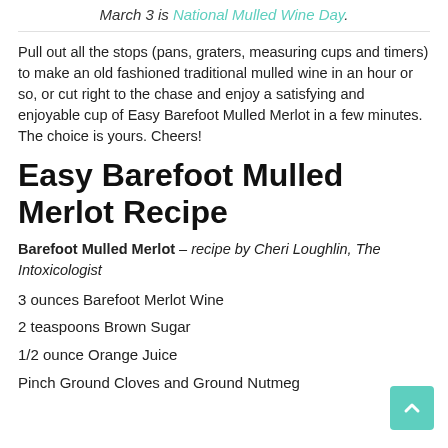March 3 is National Mulled Wine Day.
Pull out all the stops (pans, graters, measuring cups and timers) to make an old fashioned traditional mulled wine in an hour or so, or cut right to the chase and enjoy a satisfying and enjoyable cup of Easy Barefoot Mulled Merlot in a few minutes. The choice is yours. Cheers!
Easy Barefoot Mulled Merlot Recipe
Barefoot Mulled Merlot – recipe by Cheri Loughlin, The Intoxicologist
3 ounces Barefoot Merlot Wine
2 teaspoons Brown Sugar
1/2 ounce Orange Juice
Pinch Ground Cloves and Ground Nutmeg